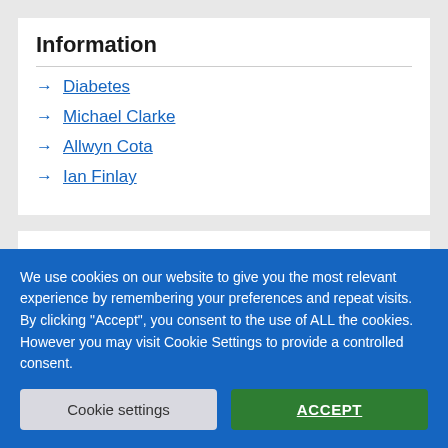Information
Diabetes
Michael Clarke
Allwyn Cota
Ian Finlay
Help us improve our website
We use cookies on our website to give you the most relevant experience by remembering your preferences and repeat visits. By clicking “Accept”, you consent to the use of ALL the cookies. However you may visit Cookie Settings to provide a controlled consent.
Cookie settings
ACCEPT